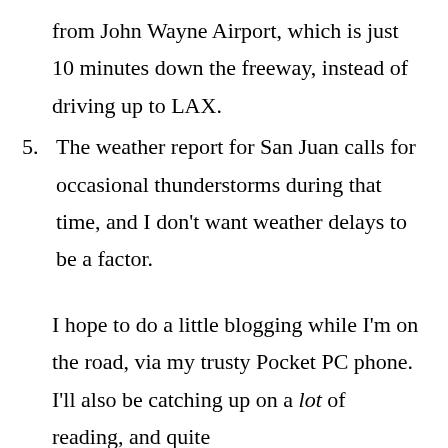from John Wayne Airport, which is just 10 minutes down the freeway, instead of driving up to LAX.
5. The weather report for San Juan calls for occasional thunderstorms during that time, and I don't want weather delays to be a factor.
I hope to do a little blogging while I'm on the road, via my trusty Pocket PC phone. I'll also be catching up on a lot of reading, and quite